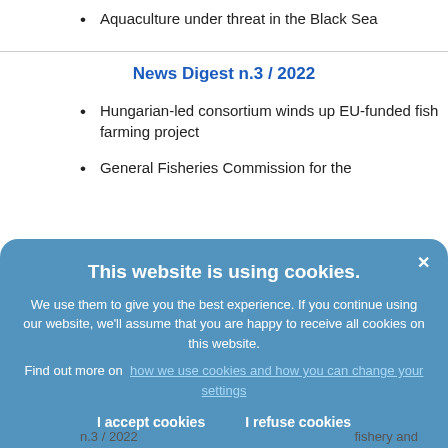Aquaculture under threat in the Black Sea
News Digest n.3 / 2022
Hungarian-led consortium winds up EU-funded fish farming project
General Fisheries Commission for the
This website is using cookies. We use them to give you the best experience. If you continue using our website, we'll assume that you are happy to receive all cookies on this website. Find out more on how we use cookies and how you can change your settings. I accept cookies   I refuse cookies
n.3 / 2022   fishery and